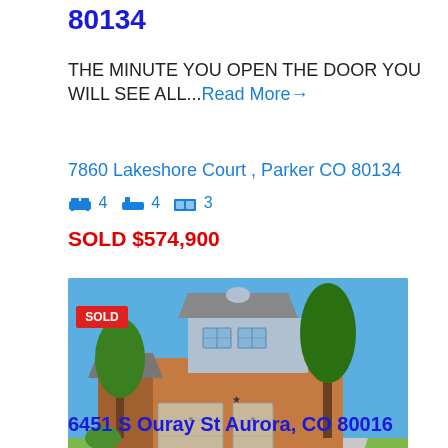80134
THE MINUTE YOU OPEN THE DOOR YOU WILL SEE ALL...Read More→
7860 Lakeshore Court , Parker CO 80134
🛏 4  🛁 4  🚗 3
SOLD $574,900
[Figure (photo): Exterior photo of a two-story brick and siding residential home with three-car garage, trees, and driveway. A red SOLD badge is overlaid on the top left of the image.]
6451 S Ouray St Aurora, CO 80016